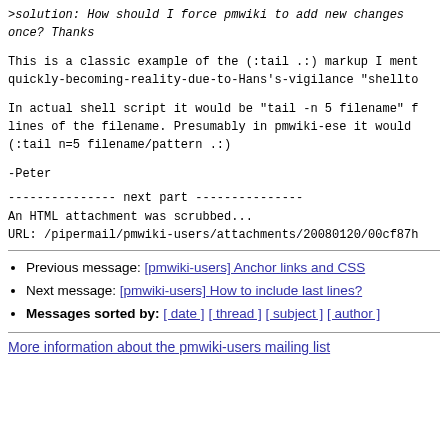>solution: How should I force pmwiki to add new changes once? Thanks
This is a classic example of the (:tail .:) markup I ment quickly-becoming-reality-due-to-Hans's-vigilance "shellto
In actual shell script it would be "tail -n 5 filename" f lines of the filename.  Presumably in pmwiki-ese it would (:tail n=5 filename/pattern .:)
-Peter
--------------- next part ---------------
An HTML attachment was scrubbed...
URL: /pipermail/pmwiki-users/attachments/20080120/00cf87h
Previous message: [pmwiki-users] Anchor links and CSS
Next message: [pmwiki-users] How to include last lines?
Messages sorted by: [ date ] [ thread ] [ subject ] [ author ]
More information about the pmwiki-users mailing list